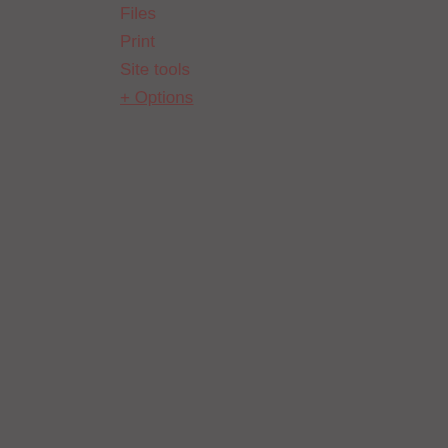Files
Print
Site tools
+ Options